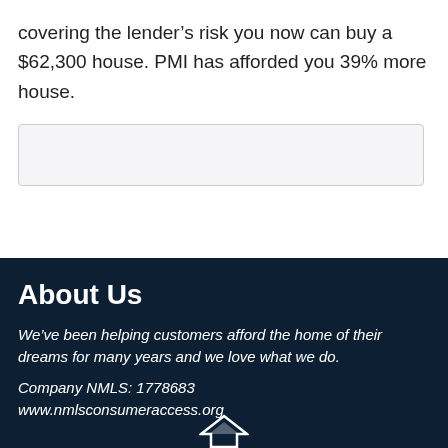covering the lender's risk you now can buy a $62,300 house. PMI has afforded you 39% more house.
[Figure (other): Empty input/form box with light gray background and border]
About Us
We've been helping customers afford the home of their dreams for many years and we love what we do.
Company NMLS: 1778683
www.nmlsconsumeraccess.org
[Figure (logo): White house/mountain logo icon at bottom of dark footer]